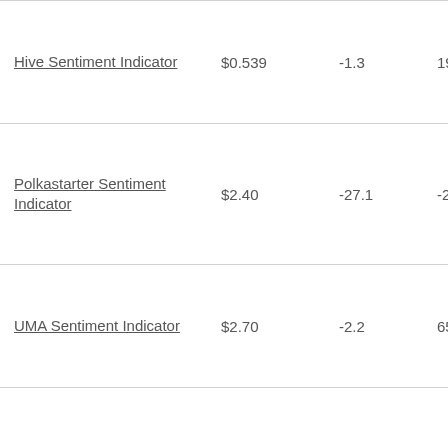| Name | Price | Change | Extra |
| --- | --- | --- | --- |
| Hive Sentiment Indicator | $0.539 | -1.3 | 19.9 |
| Polkastarter Sentiment Indicator | $2.40 | -27.1 | -20 |
| UMA Sentiment Indicator | $2.70 | -2.2 | 65. |
| Swipe Sentiment Indicator | $0.370 | -3.0 | 0.6 |
| Secret Sentiment Indicator | $1.01 | -3.3 | 28. |